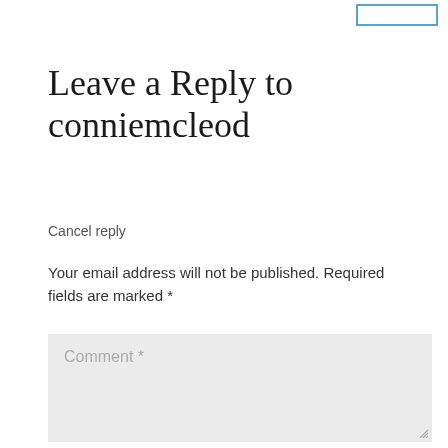[Figure (screenshot): Blue outlined button/input in top right corner]
Leave a Reply to conniemcleod
Cancel reply
Your email address will not be published. Required fields are marked *
[Figure (screenshot): Comment text area input field with placeholder text 'Comment *' on a light grey background]